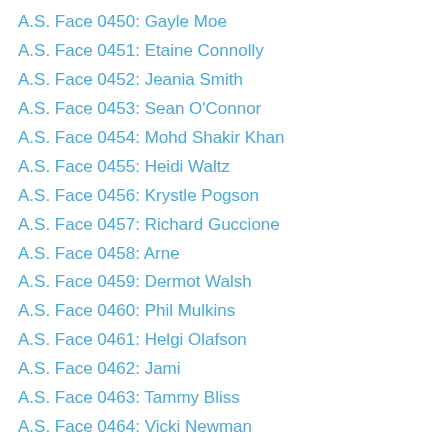A.S. Face 0450: Gayle Moe
A.S. Face 0451: Etaine Connolly
A.S. Face 0452: Jeania Smith
A.S. Face 0453: Sean O'Connor
A.S. Face 0454: Mohd Shakir Khan
A.S. Face 0455: Heidi Waltz
A.S. Face 0456: Krystle Pogson
A.S. Face 0457: Richard Guccione
A.S. Face 0458: Arne
A.S. Face 0459: Dermot Walsh
A.S. Face 0460: Phil Mulkins
A.S. Face 0461: Helgi Olafson
A.S. Face 0462: Jami
A.S. Face 0463: Tammy Bliss
A.S. Face 0464: Vicki Newman
A.S. Face 0465: Kelly Collins
A.S. Face 0466: Kevin Shubert
A.S. Face 0467: Stephanie Taylor Stewart
A.S. Face 0468: David Morgan
A.S. Face 0469: Dana Morningstar